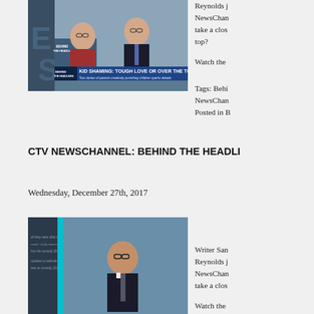[Figure (screenshot): TV broadcast screenshot showing two men sitting at a news desk. Lower-third banner reads 'KID SHAMING: TOUGH LOVE OR OVER THE TOP?' with subtitle 'Two stories of parents creatively punishing children sparks debate'. Branding shows 'BEHIND THE HEADLINES'.]
Reynolds j NewsChan take a clos top?
Watch the
Tags: Behi NewsChan Posted in B
CTV NEWSCHANNEL: BEHIND THE HEADLI
Wednesday, December 27th, 2017
[Figure (screenshot): TV broadcast screenshot showing a man in glasses and suit at a news desk with blue studio background and text on screen.]
Writer San Reynolds j NewsChan take a clos
Watch the